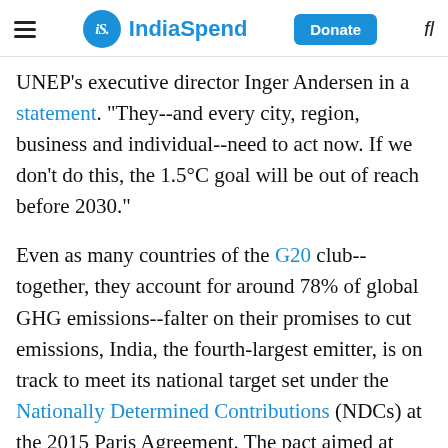IndiaSpend
UNEP's executive director Inger Andersen in a statement. “They--and every city, region, business and individual--need to act now. If we don’t do this, the 1.5°C goal will be out of reach before 2030.”
Even as many countries of the G20 club--together, they account for around 78% of global GHG emissions--falter on their promises to cut emissions, India, the fourth-largest emitter, is on track to meet its national target set under the Nationally Determined Contributions (NDCs) at the 2015 Paris Agreement. The pact aimed at limiting the global temperature rise to 1.5°C...